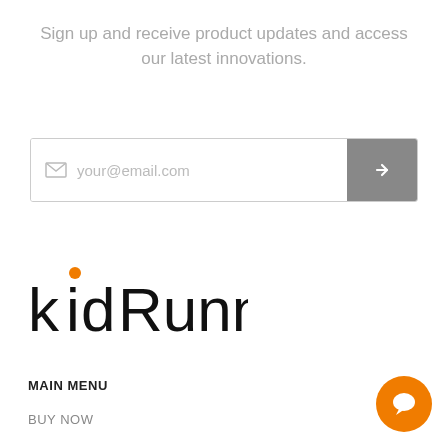Sign up and receive product updates and access our latest innovations.
[Figure (other): Email signup input field with envelope icon placeholder text 'your@email.com' and a grey arrow submit button]
[Figure (logo): KidRunner logo — stylized text 'kidRunner' with an orange dot above the letter i]
MAIN MENU
BUY NOW
[Figure (other): Orange circular chat/comment bubble icon in the bottom right corner]